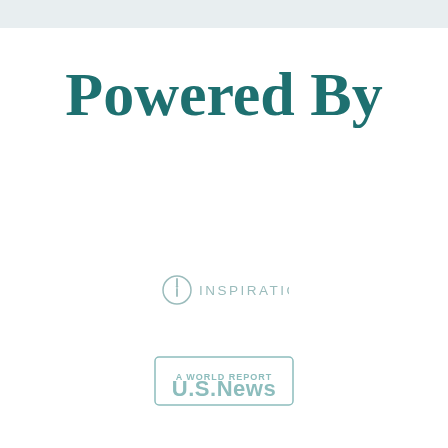Powered By
[Figure (logo): Inspiration logo: power-button circle icon with 'i' inside, followed by text 'INSPIRATION' in light teal/gray uppercase letters]
[Figure (logo): U.S. News & World Report logo in teal/mint color inside a rounded rectangle border]